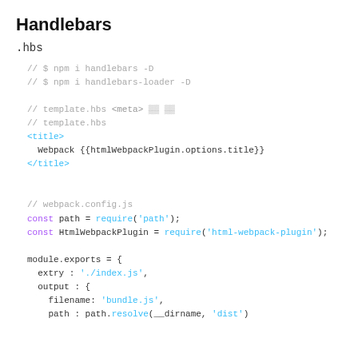Handlebars
.hbs
// $ npm i handlebars -D
// $ npm i handlebars-loader -D

// template.hbs <meta> [[ [[
// template.hbs
<title>
  Webpack {{htmlWebpackPlugin.options.title}}
</title>

// webpack.config.js
const path = require('path');
const HtmlWebpackPlugin = require('html-webpack-plugin');

module.exports = {
  extry : './index.js',
  output : {
    filename: 'bundle.js',
    path : path.resolve(__dirname, 'dist')